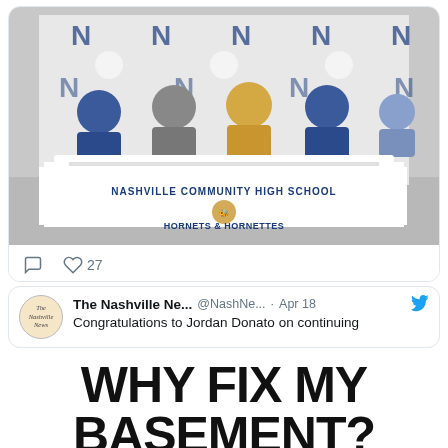[Figure (photo): Students seated at a table draped with Nashville Community High School Hornets & Hornettes banner, with school mascot logo. Several people seated behind the table in a gymnasium setting.]
27
[Figure (logo): The Nashville News circular logo/avatar]
The Nashville Ne... @NashNe... · Apr 18
Congratulations to Jordan Donato on continuing
WHY FIX MY BASEMENT?
Third to a kitchen, then a bathroom remodel, a clean dry additional living space in a basement is a good investment